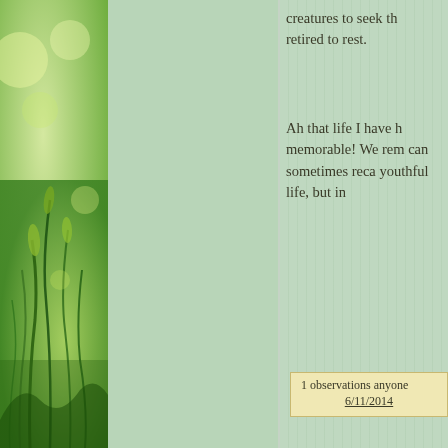[Figure (photo): Blurred close-up photo of green grass/wheat stalks on the left side of the page]
creatures to seek th retired to rest.
Ah that life I have h memorable! We rem can sometimes reca youthful life, but in
1 observations anyone
6/11/2014